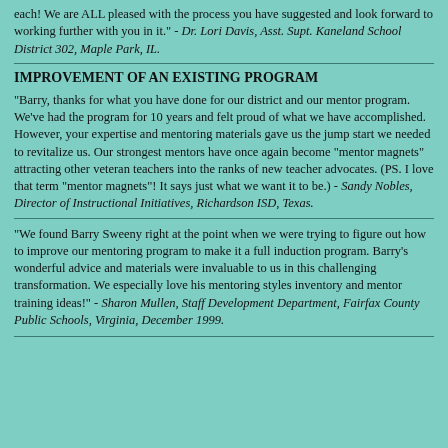each! We are ALL pleased with the process you have suggested and look forward to working further with you in it." - Dr. Lori Davis, Asst. Supt. Kaneland School District 302, Maple Park, IL.
IMPROVEMENT OF AN EXISTING PROGRAM
"Barry, thanks for what you have done for our district and our mentor program. We've had the program for 10 years and felt proud of what we have accomplished. However, your expertise and mentoring materials gave us the jump start we needed to revitalize us. Our strongest mentors have once again become "mentor magnets" attracting other veteran teachers into the ranks of new teacher advocates. (PS. I love that term "mentor magnets"! It says just what we want it to be.) - Sandy Nobles, Director of Instructional Initiatives, Richardson ISD, Texas.
"We found Barry Sweeny right at the point when we were trying to figure out how to improve our mentoring program to make it a full induction program. Barry's wonderful advice and materials were invaluable to us in this challenging transformation. We especially love his mentoring styles inventory and mentor training ideas!" - Sharon Mullen, Staff Development Department, Fairfax County Public Schools, Virginia, December 1999.